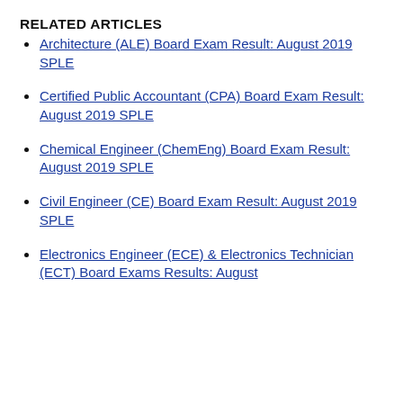RELATED ARTICLES
Architecture (ALE) Board Exam Result: August 2019 SPLE
Certified Public Accountant (CPA) Board Exam Result: August 2019 SPLE
Chemical Engineer (ChemEng) Board Exam Result: August 2019 SPLE
Civil Engineer (CE) Board Exam Result: August 2019 SPLE
Electronics Engineer (ECE) & Electronics Technician (ECT) Board Exams Results: August